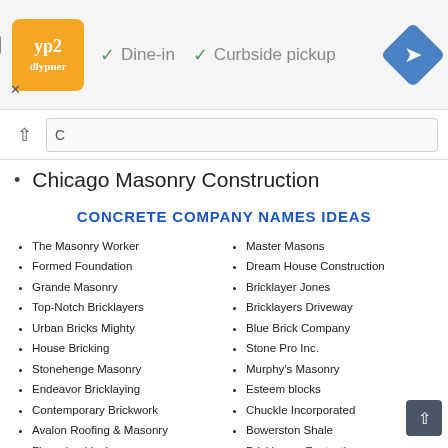[Figure (screenshot): Ad banner with orange logo, Dine-in and Curbside pickup checkmarks, and blue navigation icon]
[Figure (screenshot): Search bar area with up-arrow button and partial text input]
Chicago Masonry Construction
CONCRETE COMPANY NAMES IDEAS
The Masonry Worker
Formed Foundation
Grande Masonry
Top-Notch Bricklayers
Urban Bricks Mighty
House Bricking
Stonehenge Masonry
Endeavor Bricklaying
Contemporary Brickwork
Avalon Roofing & Masonry
Fine wine blocks
Allards Brickwork Ltd
Nick's Bricks Sidekick
Brick Paving Company
Yorkshire Stone Craft
B & a Brickwork Services
Master Masons
Dream House Construction
Bricklayer Jones
Bricklayers Driveway
Blue Brick Company
Stone Pro Inc.
Murphy's Masonry
Esteem blocks
Chuckle Incorporated
Bowerston Shale
Bricklayers Fantastic
Sunshine Masonry
Brick Plastering
Decorative Concrete Brick
AllenHands Masonry
Bryan Michels Masonry